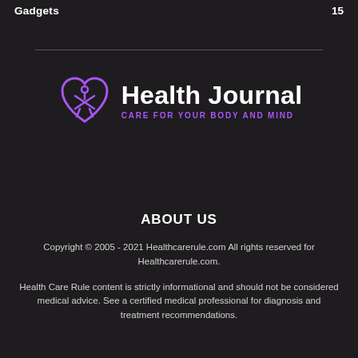Gadgets    15
[Figure (logo): Health Journal logo — a purple heart with a stylized figure inside, next to the text 'Health Journal' in white with subtitle 'CARE FOR YOUR BODY AND MIND' in purple]
ABOUT US
Copyright © 2005 - 2021 Healthcarerule.com All rights reserved for Healthcarerule.com.
Health Care Rule content is strictly informational and should not be considered medical advice. See a certified medical professional for diagnosis and treatment recommendations.